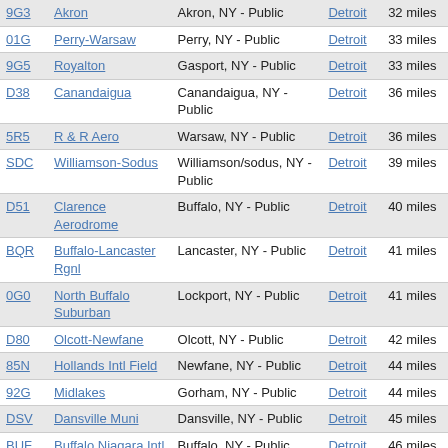| Code | Airport | Location | ARTCC | Distance |
| --- | --- | --- | --- | --- |
| 9G3 | Akron | Akron, NY - Public | Detroit | 32 miles |
| 01G | Perry-Warsaw | Perry, NY - Public | Detroit | 33 miles |
| 9G5 | Royalton | Gasport, NY - Public | Detroit | 33 miles |
| D38 | Canandaigua | Canandaigua, NY - Public | Detroit | 36 miles |
| 5R5 | R & R Aero | Warsaw, NY - Public | Detroit | 36 miles |
| SDC | Williamson-Sodus | Williamson/sodus, NY - Public | Detroit | 39 miles |
| D51 | Clarence Aerodrome | Buffalo, NY - Public | Detroit | 40 miles |
| BQR | Buffalo-Lancaster Rgnl | Lancaster, NY - Public | Detroit | 41 miles |
| 0G0 | North Buffalo Suburban | Lockport, NY - Public | Detroit | 41 miles |
| D80 | Olcott-Newfane | Olcott, NY - Public | Detroit | 42 miles |
| 85N | Hollands Intl Field | Newfane, NY - Public | Detroit | 44 miles |
| 92G | Midlakes | Gorham, NY - Public | Detroit | 44 miles |
| DSV | Dansville Muni | Dansville, NY - Public | Detroit | 45 miles |
| BUF | Buffalo Niagara Intl | Buffalo, NY - Public | Detroit | 46 miles |
| 4N2 | Middlesex Valley | Middlesex, NY - Public | Detroit | 46 miles |
| 9G0 | Buffalo Airfield | Buffalo, NY - Public | Detroit | 47 miles |